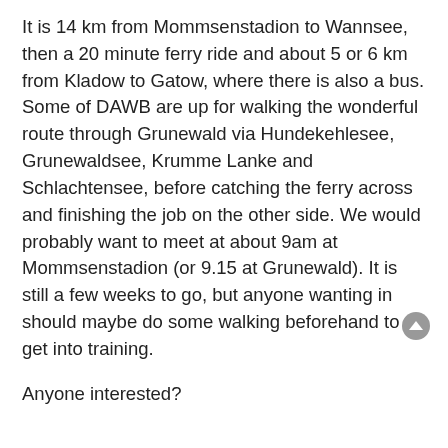It is 14 km from Mommsenstadion to Wannsee, then a 20 minute ferry ride and about 5 or 6 km from Kladow to Gatow, where there is also a bus. Some of DAWB are up for walking the wonderful route through Grunewald via Hundekehlesee, Grunewaldsee, Krumme Lanke and Schlachtensee, before catching the ferry across and finishing the job on the other side. We would probably want to meet at about 9am at Mommsenstadion (or 9.15 at Grunewald). It is still a few weeks to go, but anyone wanting in should maybe do some walking beforehand to get into training.

Anyone interested?
von jimmyconnors » 21.04.13 20:23
I forgot to mention, I ran the route Schlachtensee - Krumme Lanke yesterday. It is in deed a wonderful route.